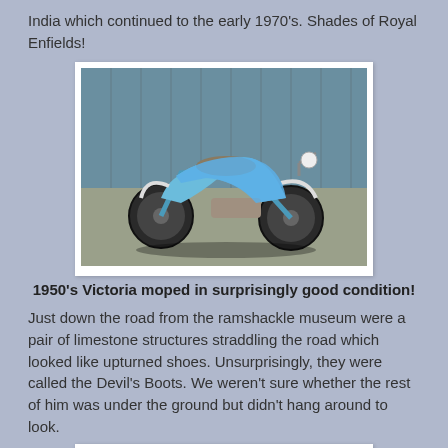India which continued to the early 1970's.  Shades of Royal Enfields!
[Figure (photo): 1950s Victoria moped in blue color, parked outdoors, in surprisingly good condition]
1950's Victoria moped in surprisingly good condition!
Just down the road from the ramshackle museum were a pair of limestone structures straddling the road which looked like upturned shoes.  Unsurprisingly, they were called the Devil's Boots.  We weren't sure whether the rest of him was under the ground but didn't hang around to look.
[Figure (photo): Limestone rock formations that look like upturned boots, known as the Devil's Boots, straddling a road with vegetation around them]